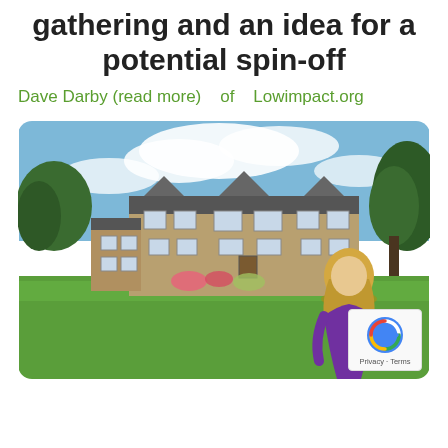gathering and an idea for a potential spin-off
Dave Darby (read more)   of   Lowimpact.org
[Figure (photo): A large stone manor house with a well-kept green lawn in the foreground. A woman with blonde hair wearing a purple top is seen from behind looking at the building. Trees surround the property under a partly cloudy blue sky.]